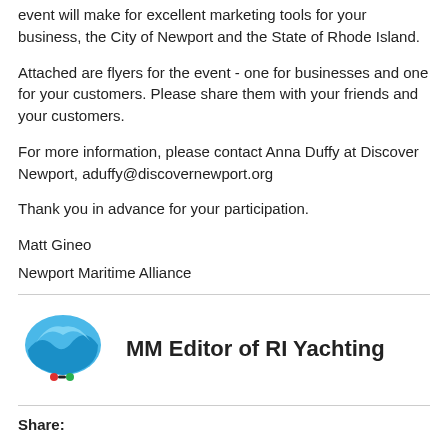event will make for excellent marketing tools for your business, the City of Newport and the State of Rhode Island.
Attached are flyers for the event - one for businesses and one for your customers. Please share them with your friends and your customers.
For more information, please contact Anna Duffy at Discover Newport, aduffy@discovernewport.org
Thank you in advance for your participation.
Matt Gineo
Newport Maritime Alliance
[Figure (logo): Newport Maritime Alliance / MM Editor of RI Yachting logo — a blue wave/mountain shape with red and green dots below, on white background]
MM Editor of RI Yachting
Share: